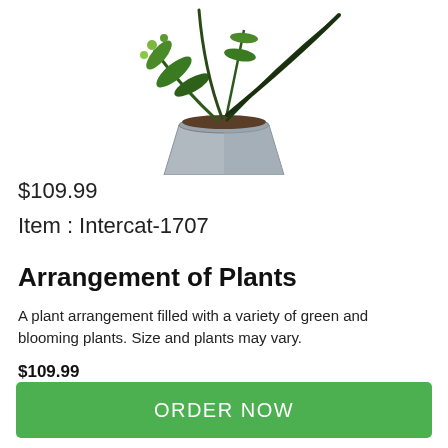[Figure (photo): Photo of a plant arrangement in a metallic geometric pot with green and blooming plants, viewed from above/side angle, partially cropped at top.]
$109.99
Item : Intercat-1707
Arrangement of Plants
A plant arrangement filled with a variety of green and blooming plants. Size and plants may vary.
$109.99
Add 10.5% tax
ORDER NOW